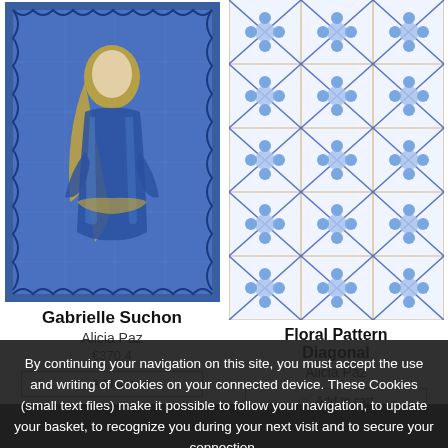[Figure (photo): Portuguese blue and white ceramic tile artwork depicting a woman (Gabrielle Suchon) with golden hair in blue robes, seated, on a grid of tiles with decorative scalloped border]
[Figure (photo): Portuguese blue and white ceramic tiles with floral diagonal pattern - repeated flower motifs connected by diagonal lines forming a grid pattern]
Gabrielle Suchon
Alicia Paz
Floral Pattern Diagonal
Alicia Paz
€370.4
Alicia Paz
Add to cart
Add to cart
By continuing your navigation on this site, you must accept the use and writing of Cookies on your connected device. These Cookies (small text files) make it possible to follow your navigation, to update your basket, to recognize you during your next visit and to secure your connection.
close